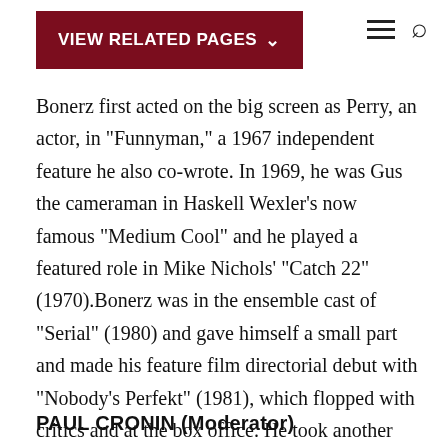VIEW RELATED PAGES
Bonerz first acted on the big screen as Perry, an actor, in "Funnyman," a 1967 independent feature he also co-wrote. In 1969, he was Gus the cameraman in Haskell Wexler's now famous "Medium Cool" and he played a featured role in Mike Nichols' "Catch 22" (1970).Bonerz was in the ensemble cast of "Serial" (1980) and gave himself a small part and made his feature film directorial debut with "Nobody's Perfekt" (1981), which flopped with critics and at the box office. He took another stab at features in 1989 with "Police Academy 6: City Under Siege." He returned to series work playing the patriarch of the family featuring the titular "Three Sisters" in that NBC 2001 sitcom.
PAUL CRONIN (Moderator)